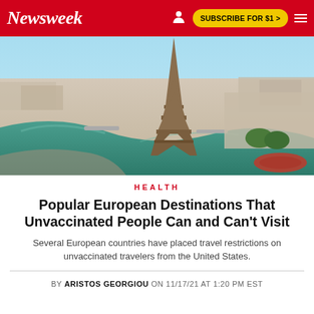Newsweek | SUBSCRIBE FOR $1 >
[Figure (photo): Aerial view of Paris with Eiffel Tower and the Seine river winding through the city]
HEALTH
Popular European Destinations That Unvaccinated People Can and Can't Visit
Several European countries have placed travel restrictions on unvaccinated travelers from the United States.
BY ARISTOS GEORGIOU ON 11/17/21 AT 1:20 PM EST